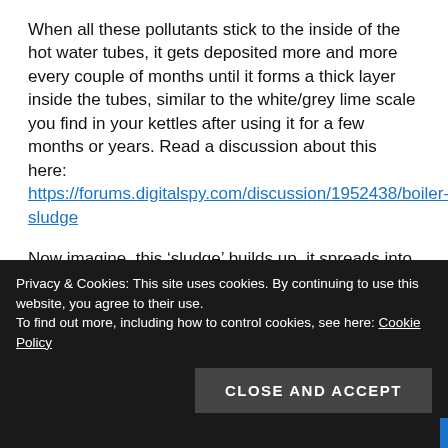When all these pollutants stick to the inside of the hot water tubes, it gets deposited more and more every couple of months until it forms a thick layer inside the tubes, similar to the white/grey lime scale you find in your kettles after using it for a few months or years. Read a discussion about this here: https://forums.digitalspy.com/discussion/1952438/boiler-sludge
Now imagine, this ‘sludge’ builds up, it spreads into your radiators, the water becomes more and more murky, one thing leads to another and the boiler starts to work even harder to be able to boil that water or spread that heat fast enough. But if it is obstructed, all that energy, gas and electricity keeps getting pumped out but with minimal effect. It basically goes to waste.
Privacy & Cookies: This site uses cookies. By continuing to use this website, you agree to their use.
To find out more, including how to control cookies, see here: Cookie Policy
CLOSE AND ACCEPT